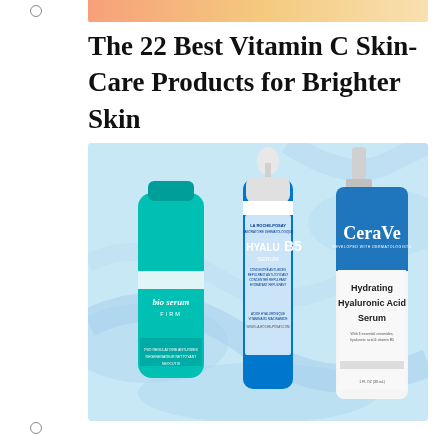[Figure (photo): Top decorative image strip with peach/orange to light gold gradient color bar]
The 22 Best Vitamin C Skin-Care Products for Brighter Skin
[Figure (photo): Photo of three skincare serum products on a light blue swirly background: Neocutis Bio Serum Firm (teal cylindrical bottle), La Roche-Posay Hyalu B5 Serum (teal dropper bottle), and CeraVe Hydrating Hyaluronic Acid Serum (white and blue pump bottle)]